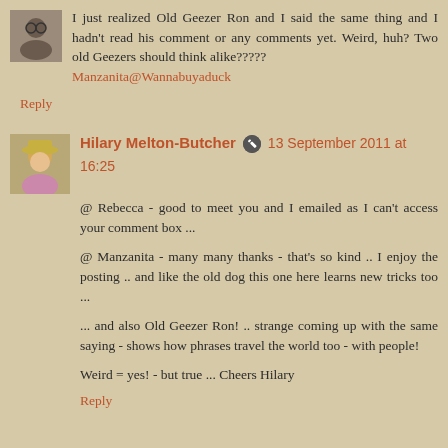I just realized Old Geezer Ron and I said the same thing and I hadn't read his comment or any comments yet. Weird, huh? Two old Geezers should think alike????? Manzanita@Wannabuyaduck
Reply
Hilary Melton-Butcher [pencil icon] 13 September 2011 at 16:25
@ Rebecca - good to meet you and I emailed as I can't access your comment box ...
@ Manzanita - many many thanks - that's so kind .. I enjoy the posting .. and like the old dog this one here learns new tricks too ...
... and also Old Geezer Ron! .. strange coming up with the same saying - shows how phrases travel the world too - with people!
Weird = yes! - but true ... Cheers Hilary
Reply